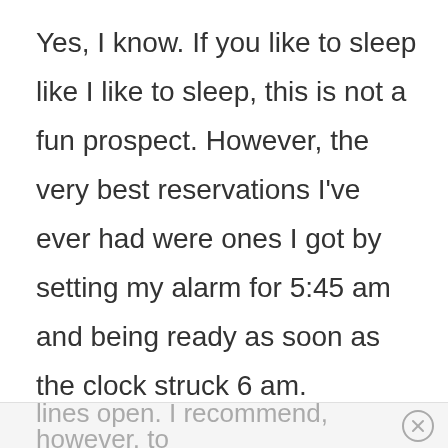Yes, I know. If you like to sleep like I like to sleep, this is not a fun prospect. However, the very best reservations I've ever had were ones I got by setting my alarm for 5:45 am and being ready as soon as the clock struck 6 am.

If you prefer to make your dining reservations by phone, you can start making them at 7 am when the phone
lines open. I recommend, however, to